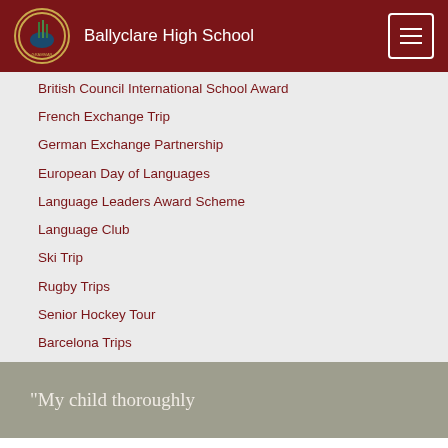Ballyclare High School
British Council International School Award
French Exchange Trip
German Exchange Partnership
European Day of Languages
Language Leaders Award Scheme
Language Club
Ski Trip
Rugby Trips
Senior Hockey Tour
Barcelona Trips
“My child thoroughly